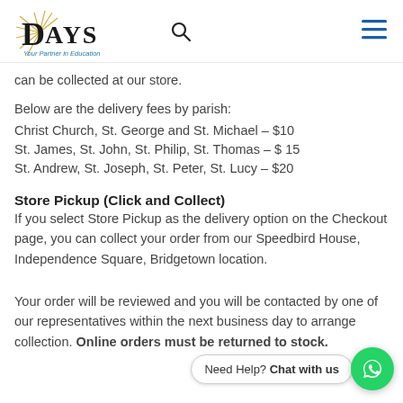Days — Your Partner in Education
can be collected at our store.
Below are the delivery fees by parish:
Christ Church, St. George and St. Michael – $10
St. James, St. John, St. Philip, St. Thomas – $ 15
St. Andrew, St. Joseph, St. Peter, St. Lucy – $20
Store Pickup (Click and Collect)
If you select Store Pickup as the delivery option on the Checkout page, you can collect your order from our Speedbird House, Independence Square, Bridgetown location.
Your order will be reviewed and you will be contacted by one of our representatives within the next business day to arrange collection. Online orders must be returned to stock.